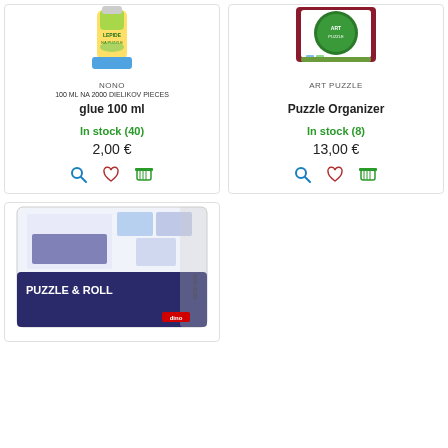[Figure (photo): Product image for NONO glue 100ml - green and yellow bottle of puzzle glue]
NONO
100 ML NA 2000 DIELIKOV PIECES
glue 100 ml
In stock (40)
2,00 €
[Figure (photo): Product image for ART PUZZLE Puzzle Organizer - green and maroon box]
ART PUZZLE
Puzzle Organizer
In stock (8)
13,00 €
[Figure (photo): Product image for Puzzle & Roll - dark blue puzzle storage roll mat box, 500-3000 pieces]